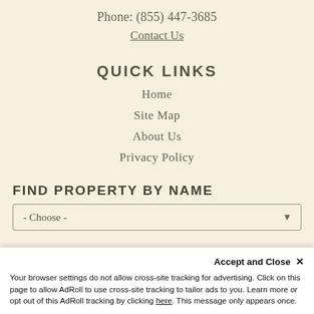Phone: (855) 447-3685
Contact Us
QUICK LINKS
Home
Site Map
About Us
Privacy Policy
FIND PROPERTY BY NAME
- Choose -
Hawai'i Life Vacations is a division of Hawai'i Life Real Estate Brokers
Accept and Close ✕
Your browser settings do not allow cross-site tracking for advertising. Click on this page to allow AdRoll to use cross-site tracking to tailor ads to you. Learn more or opt out of this AdRoll tracking by clicking here. This message only appears once.